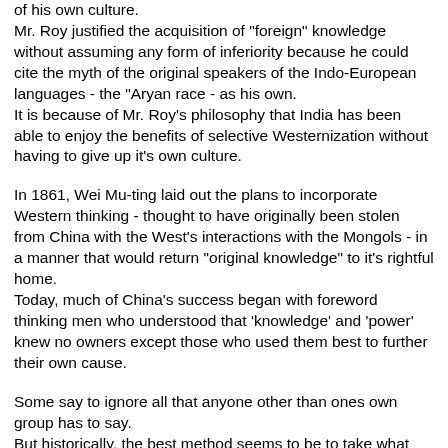of his own culture. Mr. Roy justified the acquisition of "foreign" knowledge without assuming any form of inferiority because he could cite the myth of the original speakers of the Indo-European languages - the "Aryan race - as his own. It is because of Mr. Roy's philosophy that India has been able to enjoy the benefits of selective Westernization without having to give up it's own culture.
In 1861, Wei Mu-ting laid out the plans to incorporate Western thinking - thought to have originally been stolen from China with the West's interactions with the Mongols - in a manner that would return "original knowledge" to it's rightful home. Today, much of China's success began with foreword thinking men who understood that 'knowledge' and 'power' knew no owners except those who used them best to further their own cause.
Some say to ignore all that anyone other than ones own group has to say. But historically, the best method seems to be to take what can be learned and to incorporate that within ones own